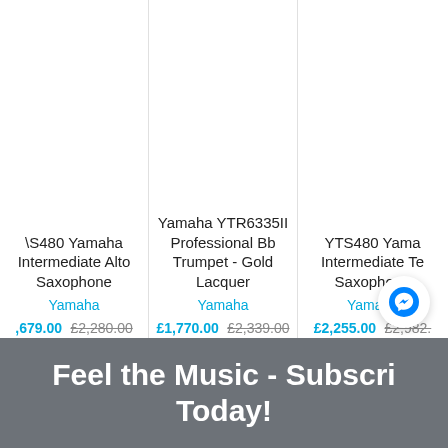YAS480 Yamaha Intermediate Alto Saxophone
Yamaha
£1,679.00 £2,280.00
Available To Order
Yamaha YTR6335II Professional Bb Trumpet - Gold Lacquer
Yamaha
£1,770.00 £2,339.00
Available To Order
YTS480 Yamaha Intermediate Tenor Saxophone
Yamaha
£2,255.00 £2,982.
Available To Order
Feel the Music - Subscribe Today!